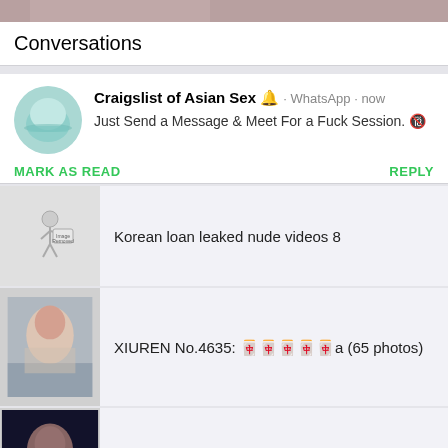[Figure (photo): Partial image visible at top of page]
Conversations
Craigslist of Asian Sex 🔔 · WhatsApp · now
Just Send a Message & Meet For a Fuck Session. 🔞
MARK AS READ    REPLY
Korean loan leaked nude videos 8
XIUREN No.4635: 🀄🀄🀄🀄🀄a (65 photos)
XIUREN No.4634: 🀄🀄 (65 photos)